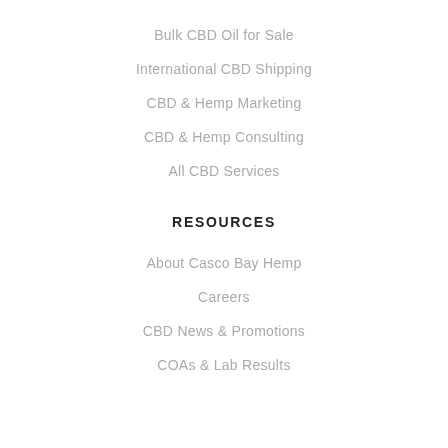Bulk CBD Oil for Sale
International CBD Shipping
CBD & Hemp Marketing
CBD & Hemp Consulting
All CBD Services
RESOURCES
About Casco Bay Hemp
Careers
CBD News & Promotions
COAs & Lab Results